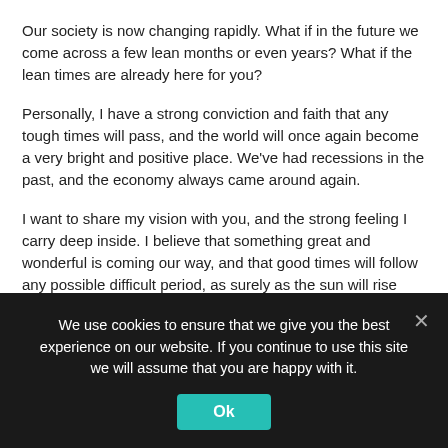Our society is now changing rapidly. What if in the future we come across a few lean months or even years? What if the lean times are already here for you?
Personally, I have a strong conviction and faith that any tough times will pass, and the world will once again become a very bright and positive place. We've had recessions in the past, and the economy always came around again.
I want to share my vision with you, and the strong feeling I carry deep inside. I believe that something great and wonderful is coming our way, and that good times will follow any possible difficult period, as surely as the sun will rise tomorrow.
Call it mystical, call it irrational, but you can't take that feeling away from me, or convince me otherwise. I'm sharing it with you now, in hopes that it might plant the seed for you to catch my faith in the future.
I'm convinced that over the long term, things will be okay no matter what.
We use cookies to ensure that we give you the best experience on our website. If you continue to use this site we will assume that you are happy with it.